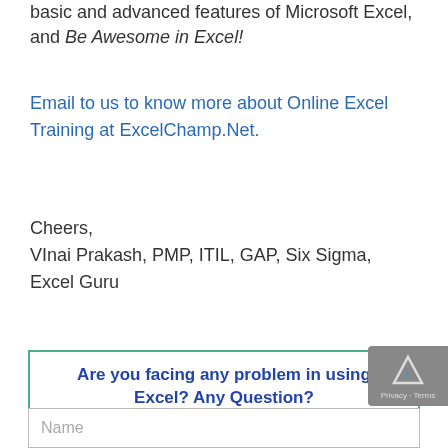basic and advanced features of Microsoft Excel, and Be Awesome in Excel!
Email to us to know more about Online Excel Training at ExcelChamp.Net.
Cheers,
VInai Prakash, PMP, ITIL, GAP, Six Sigma, Excel Guru
Are you facing any problem in using Excel? Any Question?
You have come to the right place. Tell us your needs. We'll be glad to help you!
Name